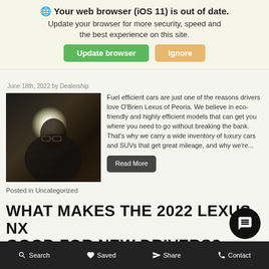🌐 Your web browser (iOS 11) is out of date. Update your browser for more security, speed and the best experience on this site.
June 18th, 2022 by Dealership
[Figure (photo): A man wearing glasses photographed in a dark car interior with a bright camera flash.]
Fuel efficient cars are just one of the reasons drivers love O'Brien Lexus of Peoria. We believe in eco-friendly and highly efficient models that can get you where you need to go without breaking the bank. That's why we carry a wide inventory of luxury cars and SUVs that get great mileage, and why we're...
Read More
Posted in Uncategorized
WHAT MAKES THE 2022 LEXUS NX GOOD FOR NEW DRIVERS?
Search   Saved   Share   Contact